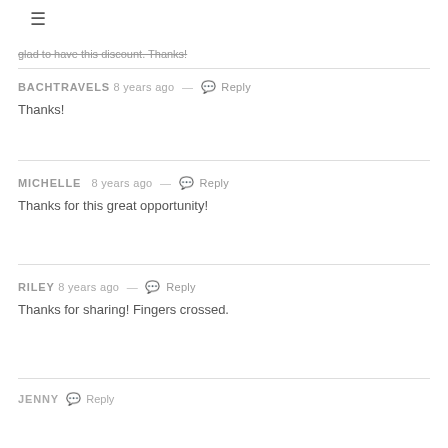glad to have this discount. Thanks!
BACHTRAVELS 8 years ago — Reply
Thanks!
MICHELLE 8 years ago — Reply
Thanks for this great opportunity!
RILEY 8 years ago — Reply
Thanks for sharing! Fingers crossed.
JENNY 8 Reply